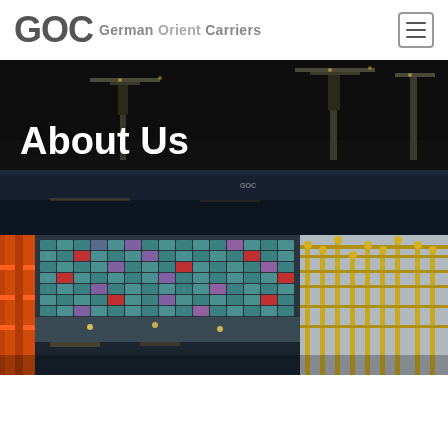GOC German Orient Carriers
[Figure (photo): Aerial view of a port with large cranes and a ship at night/dark lighting, with 'About Us' text overlay]
About Us
[Figure (photo): Aerial view of a container ship loaded with colorful shipping containers, with port cranes visible on the right side]